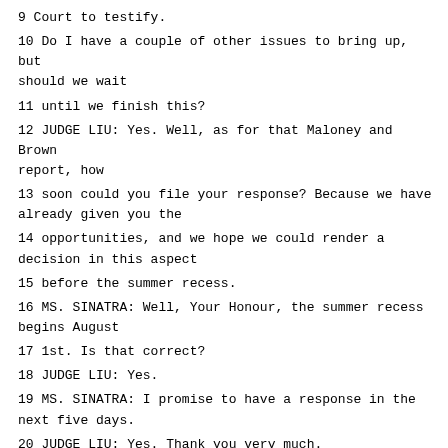9 Court to testify.
10 Do I have a couple of other issues to bring up, but should we wait
11 until we finish this?
12 JUDGE LIU: Yes. Well, as for that Maloney and Brown report, how
13 soon could you file your response? Because we have already given you the
14 opportunities, and we hope we could render a decision in this aspect
15 before the summer recess.
16 MS. SINATRA: Well, Your Honour, the summer recess begins August
17 1st. Is that correct?
18 JUDGE LIU: Yes.
19 MS. SINATRA: I promise to have a response in the next five days.
20 JUDGE LIU: Yes. Thank you very much.
21 MS. SINATRA: Thank you.